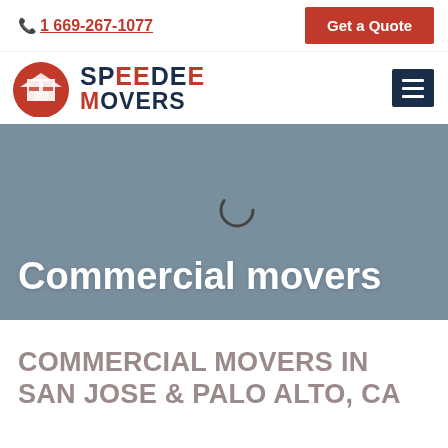1669-267-1077 | Get a Quote
[Figure (logo): Speedee Movers logo with red circular building icon and navy/red text]
[Figure (screenshot): Hero banner with grey background showing 'Commercial movers' in white bold text and a loading spinner]
COMMERCIAL MOVERS IN SAN JOSE & PALO ALTO, CA